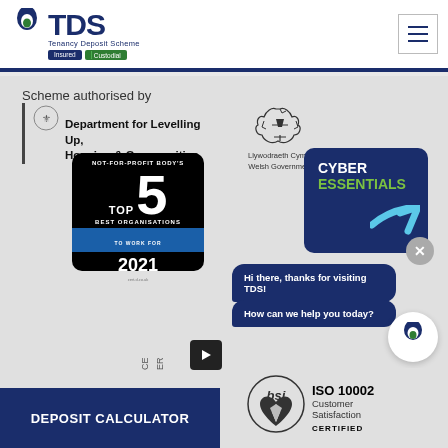[Figure (logo): TDS Tenancy Deposit Scheme logo with Insured and Custodial badges]
Scheme authorised by
[Figure (logo): Department for Levelling Up, Housing & Communities crest and name with Welsh Government dragon logo]
[Figure (logo): NOT-FOR-PROFIT BODY'S TOP 5 BEST ORGANISATIONS TO WORK FOR 2021 cert.d.co.uk badge]
[Figure (logo): Cyber Essentials certification badge with checkmark]
Hi there, thanks for visiting TDS!
How can we help you today?
[Figure (logo): BSI ISO 10002 Customer Satisfaction CERTIFIED badge]
DEPOSIT CALCULATOR